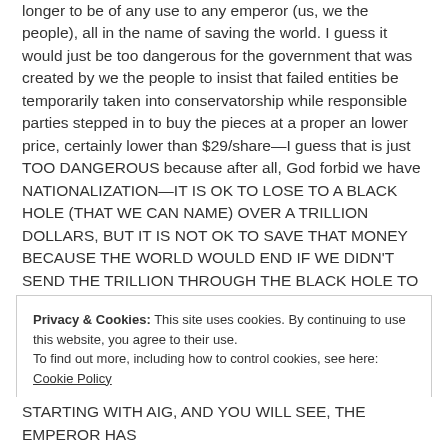longer to be of any use to any emperor (us, we the people), all in the name of saving the world. I guess it would just be too dangerous for the government that was created by we the people to insist that failed entities be temporarily taken into conservatorship while responsible parties stepped in to buy the pieces at a proper an lower price, certainly lower than $29/share—I guess that is just TOO DANGEROUS because after all, God forbid we have NATIONALIZATION—IT IS OK TO LOSE TO A BLACK HOLE (THAT WE CAN NAME) OVER A TRILLION DOLLARS, BUT IT IS NOT OK TO SAVE THAT MONEY BECAUSE THE WORLD WOULD END IF WE DIDN'T SEND THE TRILLION THROUGH THE BLACK HOLE TO THE FOLKS THAT GAVE US THIS DISASTER!!!
Privacy & Cookies: This site uses cookies. By continuing to use this website, you agree to their use. To find out more, including how to control cookies, see here: Cookie Policy
Close and accept
STARTING WITH AIG, AND YOU WILL SEE, THE EMPEROR HAS